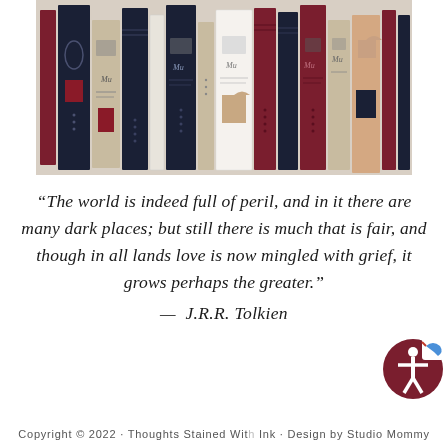[Figure (illustration): Illustration of a row of books on a shelf with spines showing, in dark navy, dark red/maroon, beige/tan, white, and peach colors, with various decorative spine details.]
“The world is indeed full of peril, and in it there are many dark places; but still there is much that is fair, and though in all lands love is now mingled with grief, it grows perhaps the greater.” — J.R.R. Tolkien
Copyright © 2022 · Thoughts Stained With Ink · Design by Studio Mommy